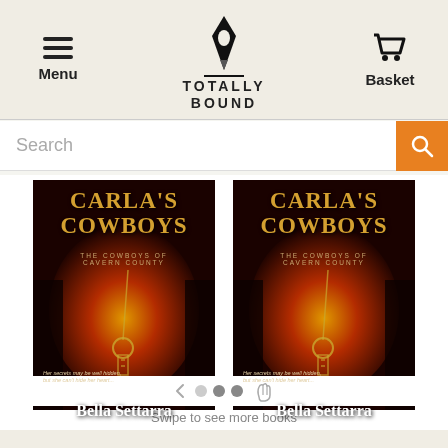[Figure (screenshot): Totally Bound website header with hamburger menu icon and 'Menu' label on left, Totally Bound pen nib logo and text in center, shopping cart icon and 'Basket' label on right]
[Figure (screenshot): Search bar with placeholder text 'Search' and orange search button with magnifying glass icon]
[Figure (illustration): Two identical book covers for 'Carla's Cowboys - The Cowboys of Cavern County' by Bella Settarra, featuring a dark red/orange fiery background with a golden key and chain, and tagline 'Her secrets may be well hidden, but she can't hide her heart...']
[Figure (infographic): Swipe navigation indicator with left arrow, two circle dots, one filled dot, and a hand/swipe icon]
Swipe to see more books